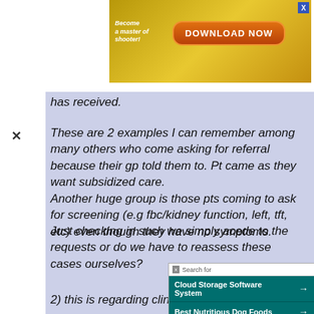[Figure (screenshot): Ad banner: 'Become a master of shooter! DOWNLOAD NOW' with orange button and starfish graphic, yellow/gold background, blue X close button]
has received.
These are 2 examples I can remember among many others who come asking for referral because their gp told them to. Pt came as they want subsidized care.
Another huge group is those pts coming to ask for screening (e.g fbc/kidney function, left, tft, etc) even though they ha[ve no] symptoms.
Just checking in suc[h cases, do] we simply acede to t[he requests] or do we have to rea[ssess these] cases ourselves?
2) this is regarding clinical
[Figure (screenshot): Search popup overlay with teal/dark green background showing 'Search for' header, two sponsored results: 'Cloud Storage Software System' and 'Best Nutritious Dog Foods' with arrows, yahoo Search Sponsored footer]